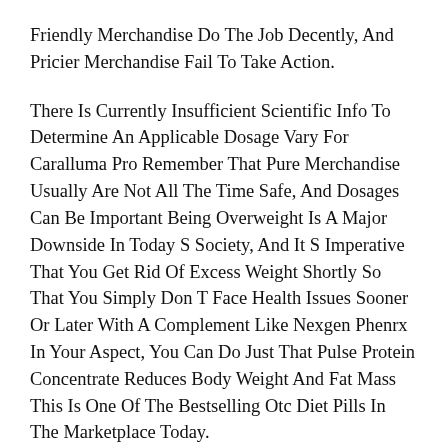Friendly Merchandise Do The Job Decently, And Pricier Merchandise Fail To Take Action.
There Is Currently Insufficient Scientific Info To Determine An Applicable Dosage Vary For Caralluma Pro Remember That Pure Merchandise Usually Are Not All The Time Safe, And Dosages Can Be Important Being Overweight Is A Major Downside In Today S Society, And It S Imperative That You Get Rid Of Excess Weight Shortly So That You Simply Don T Face Health Issues Sooner Or Later With A Complement Like Nexgen Phenrx In Your Aspect, You Can Do Just That Pulse Protein Concentrate Reduces Body Weight And Fat Mass This Is One Of The Bestselling Otc Diet Pills In The Marketplace Today.
Numerous Research Are Demonstrating The Jacob Batalon Weight Loss Health Advantages Of Glucomannan Several